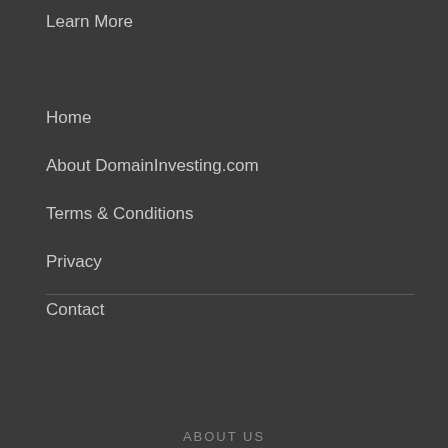Learn More
Home
About DomainInvesting.com
Terms & Conditions
Privacy
Contact
ABOUT US